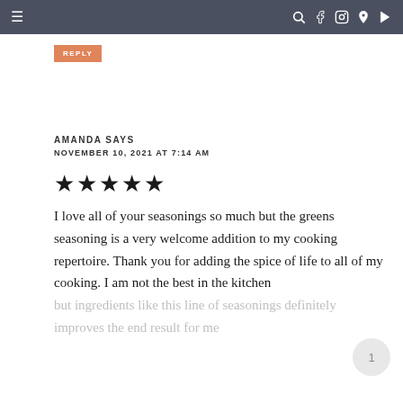≡   🔍 f 📷 p ▶
REPLY
AMANDA SAYS
NOVEMBER 10, 2021 AT 7:14 AM
★★★★★
I love all of your seasonings so much but the greens seasoning is a very welcome addition to my cooking repertoire. Thank you for adding the spice of life to all of my cooking. I am not the best in the kitchen but ingredients like this line of seasonings definitely improves the end result for me